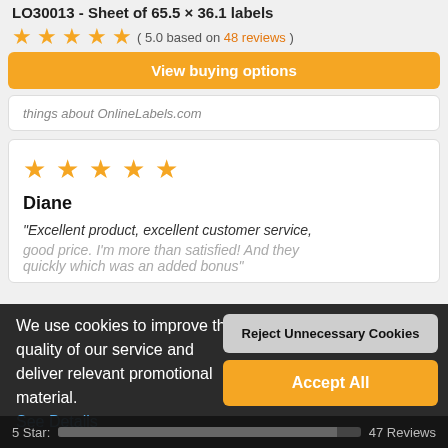LO30013 - Sheet of 65.5 x 36.1 labels
( 5.0 based on 48 reviews )
View buying options
things about OnlineLabels.com
Diane
"Excellent product, excellent customer service, good price. I'm more than satisfied! And they quickly which was an added bonus"
We use cookies to improve the quality of our service and deliver relevant promotional material. See Details
Reject Unnecessary Cookies
Accept All
5 Star: 47 Reviews